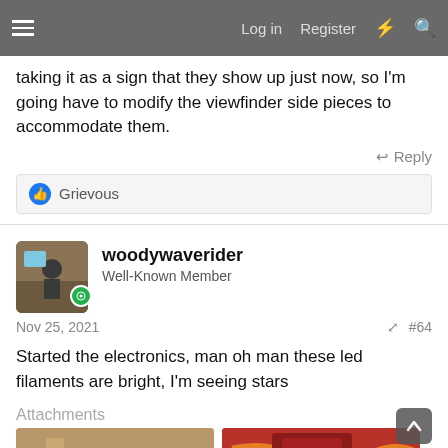Log in  Register
taking it as a sign that they show up just now, so I'm going have to modify the viewfinder side pieces to accommodate them.
Reply
Grievous
woodywaverider
Well-Known Member
Nov 25, 2021  #64
Started the electronics, man oh man these led filaments are bright, I'm seeing stars
Attachments
[Figure (photo): Thumbnail photo of electronics/wiring on a workbench]
[Figure (photo): Thumbnail photo showing orange wires against a red background]